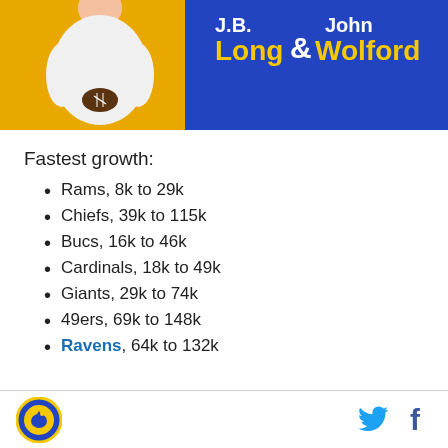[Figure (photo): Banner image showing a person in a white shirt holding a football against a yellow/gold background on the left, with a blue background on the right displaying 'J.B. Long & John Wolford' in white and yellow bold text.]
Fastest growth:
Rams, 8k to 29k
Chiefs, 39k to 115k
Bucs, 16k to 46k
Cardinals, 18k to 49k
Giants, 29k to 74k
49ers, 69k to 148k
Ravens, 64k to 132k
Logo | Twitter | Facebook